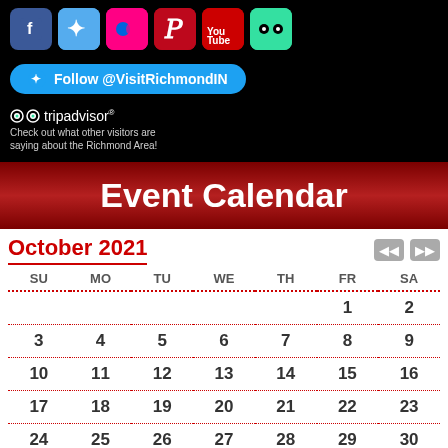[Figure (infographic): Social media icons row: Facebook, Twitter, Flickr, Pinterest, YouTube, TripAdvisor]
[Figure (infographic): Twitter Follow button: Follow @VisitRichmondIN]
[Figure (logo): TripAdvisor logo with text: Check out what other visitors are saying about the Richmond Area!]
Event Calendar
October 2021
| SU | MO | TU | WE | TH | FR | SA |
| --- | --- | --- | --- | --- | --- | --- |
|  |  |  |  |  | 1 | 2 |
| 3 | 4 | 5 | 6 | 7 | 8 | 9 |
| 10 | 11 | 12 | 13 | 14 | 15 | 16 |
| 17 | 18 | 19 | 20 | 21 | 22 | 23 |
| 24 | 25 | 26 | 27 | 28 | 29 | 30 |